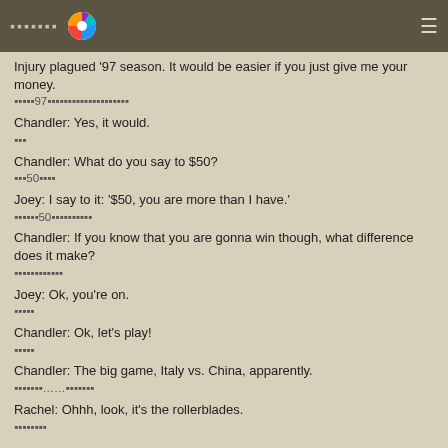▪▪▪▪▪▪▪
Injury plagued '97 season. It would be easier if you just give me your money.
▪▪▪▪▪97▪▪▪▪▪▪▪▪▪▪▪▪▪▪▪▪▪▪▪▪
Chandler: Yes, it would.
▪▪▪
Chandler: What do you say to $50?
▪▪▪50▪▪▪▪
Joey: I say to it: '$50, you are more than I have.'
▪▪▪▪▪▪50▪▪▪▪▪▪▪▪▪▪
Chandler: If you know that you are gonna win though, what difference does it make?
▪▪▪▪▪▪▪▪▪▪▪▪
Joey: Ok, you're on.
▪▪▪▪▪
Chandler: Ok, let's play!
▪▪▪▪▪
Chandler: The big game, Italy vs. China, apparently.
▪▪▪▪▪▪▪……▪▪▪▪▪▪▪
Rachel: Ohhh, look, it's the rollerblades.
▪▪▪▪▪▪▪▪